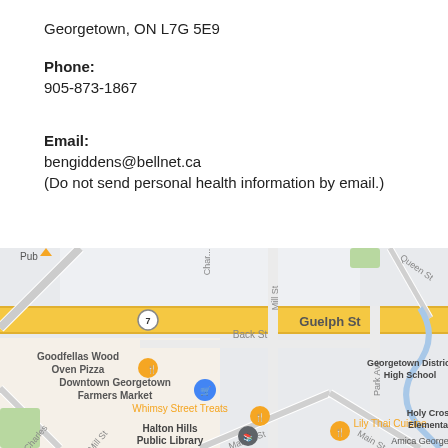Georgetown, ON L7G 5E9
Phone:
905-873-1867
Email:
bengiddens@bellnet.ca
(Do not send personal health information by email.)
[Figure (map): Google Maps screenshot showing downtown Georgetown, ON area with streets including Guelph St, Back St, Mill St, Park Ave, Market St, Main St. Landmarks shown include Goodfellas Wood Oven Pizza, Downtown Georgetown Farmers Market, Whimsy Street Treats, Halton Hills Public Library, Lily Thai Cuisine, Georgetown District High School, Holy Cross Elementary, Amica Georgetown.]